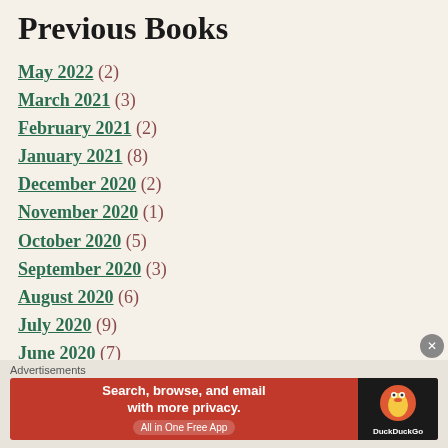Previous Books
May 2022 (2)
March 2021 (3)
February 2021 (2)
January 2021 (8)
December 2020 (2)
November 2020 (1)
October 2020 (5)
September 2020 (3)
August 2020 (6)
July 2020 (9)
June 2020 (7)
May 2020 (6)
[Figure (infographic): DuckDuckGo advertisement banner: orange/red background with text 'Search, browse, and email with more privacy. All in One Free App', alongside DuckDuckGo logo on dark background]